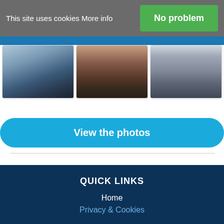This site uses cookies More info
No problem
[Figure (photo): Three airport photos side by side: an airport interior with curved ceiling, a crowd of people at a check-in area, and a queue of passengers in a terminal.]
View the photos
QUICK LINKS
Home
Privacy & Cookies